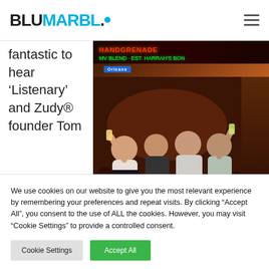BLUMARBL.
fantastic to hear ‘Listenary’ and Zudy® founder Tom
[Figure (photo): Group of four people outdoors at night on a lively street, holding drinks up, with neon signs including 'Handgrenade' and a street sign reading 'Orleans' in the background.]
We use cookies on our website to give you the most relevant experience by remembering your preferences and repeat visits. By clicking “Accept All”, you consent to the use of ALL the cookies. However, you may visit "Cookie Settings" to provide a controlled consent.